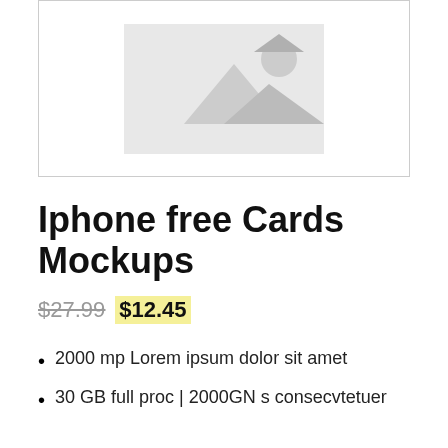[Figure (illustration): Placeholder image with grey mountain/landscape silhouette icon on white background with grey border]
Iphone free Cards Mockups
$27.99 $12.45
2000 mp Lorem ipsum dolor sit amet
30 GB full proc | 2000GN s consecvtetuer